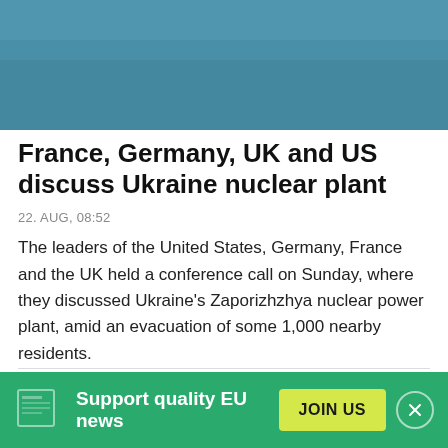[Figure (photo): Top image showing teal/blue surface, partially visible]
France, Germany, UK and US discuss Ukraine nuclear plant
22. AUG, 08:52
The leaders of the United States, Germany, France and the UK held a conference call on Sunday, where they discussed Ukraine's Zaporizhzhya nuclear power plant, amid an evacuation of some 1,000 nearby residents.
[Figure (photo): Bottom image showing blue sky, partially visible]
Support quality EU news
JOIN US